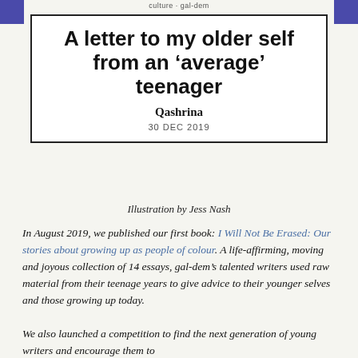culture · gal-dem
A letter to my older self from an 'average' teenager
Qashrina
30 DEC 2019
Illustration by Jess Nash
In August 2019, we published our first book: I Will Not Be Erased: Our stories about growing up as people of colour. A life-affirming, moving and joyous collection of 14 essays, gal-dem's talented writers used raw material from their teenage years to give advice to their younger selves and those growing up today.
We also launched a competition to find the next generation of young writers and encourage them to